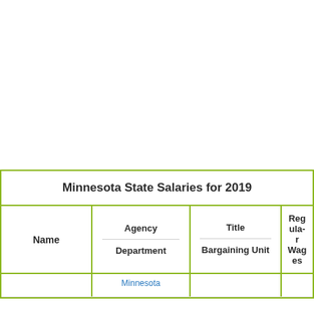| Name | Agency / Department | Title / Bargaining Unit | Regular Wages |
| --- | --- | --- | --- |
|  | Minnesota |  |  |